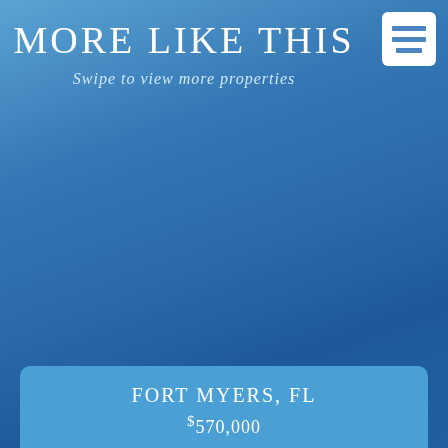MORE LIKE THIS
Swipe to view more properties
[Figure (screenshot): Menu icon with three horizontal blue lines on white background]
FORT MYERS, FL
$570,000